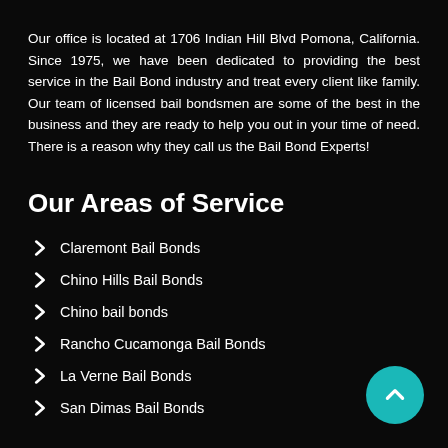Our office is located at 1706 Indian Hill Blvd Pomona, California. Since 1975, we have been dedicated to providing the best service in the Bail Bond industry and treat every client like family. Our team of licensed bail bondsmen are some of the best in the business and they are ready to help you out in your time of need. There is a reason why they call us the Bail Bond Experts!
Our Areas of Service
Claremont Bail Bonds
Chino Hills Bail Bonds
Chino bail bonds
Rancho Cucamonga Bail Bonds
La Verne Bail Bonds
San Dimas Bail Bonds